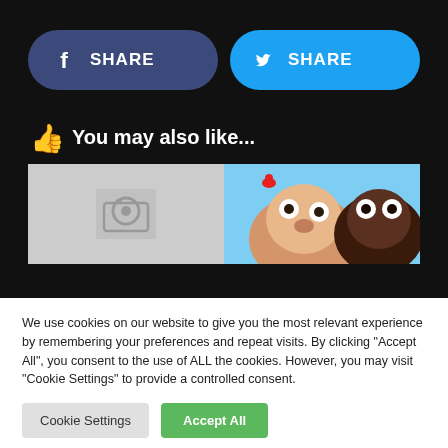[Figure (other): Facebook Share button (dark blue rounded rectangle with Facebook logo icon and SHARE text)]
[Figure (other): Twitter Share button (light blue rounded rectangle with Twitter bird icon and SHARE text)]
👍 You may also like...
[Figure (photo): Gray placeholder image with camera icon on the left]
[Figure (photo): Animated cartoon animal characters including dogs and a small red bird]
We use cookies on our website to give you the most relevant experience by remembering your preferences and repeat visits. By clicking "Accept All", you consent to the use of ALL the cookies. However, you may visit "Cookie Settings" to provide a controlled consent.
Cookie Settings
Accept All